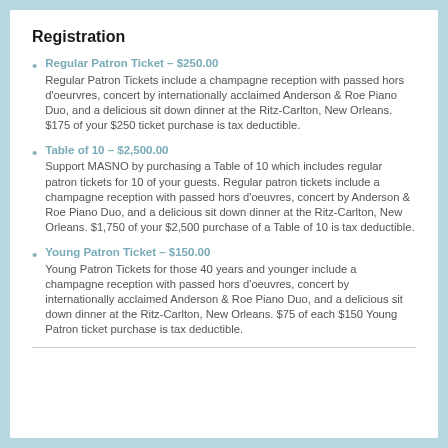Registration
Regular Patron Ticket – $250.00
Regular Patron Tickets include a champagne reception with passed hors d'oeurvres, concert by internationally acclaimed Anderson & Roe Piano Duo, and a delicious sit down dinner at the Ritz-Carlton, New Orleans. $175 of your $250 ticket purchase is tax deductible.
Table of 10 – $2,500.00
Support MASNO by purchasing a Table of 10 which includes regular patron tickets for 10 of your guests. Regular patron tickets include a champagne reception with passed hors d'oeuvres, concert by Anderson & Roe Piano Duo, and a delicious sit down dinner at the Ritz-Carlton, New Orleans. $1,750 of your $2,500 purchase of a Table of 10 is tax deductible.
Young Patron Ticket – $150.00
Young Patron Tickets for those 40 years and younger include a champagne reception with passed hors d'oeuvres, concert by internationally acclaimed Anderson & Roe Piano Duo, and a delicious sit down dinner at the Ritz-Carlton, New Orleans. $75 of each $150 Young Patron ticket purchase is tax deductible.